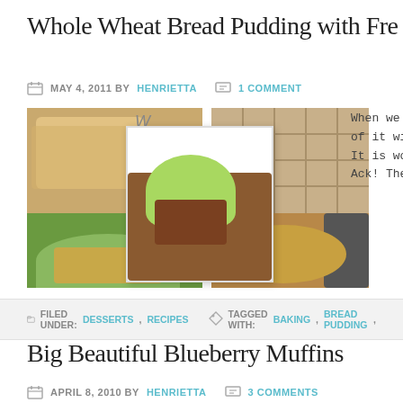Whole Wheat Bread Pudding with Fre...
MAY 4, 2011 BY HENRIETTA  1 COMMENT
[Figure (photo): Three overlapping food photos showing bread pudding with green cream topping, bread loaf in plastic wrap, and baked bread pudding in cast iron skillet]
When we go to Ho... of it with a spoon... It is worth every c... Ack! They had bak...
FILED UNDER: DESSERTS, RECIPES  TAGGED WITH: BAKING, BREAD PUDDING,...
Big Beautiful Blueberry Muffins
APRIL 8, 2010 BY HENRIETTA  3 COMMENTS